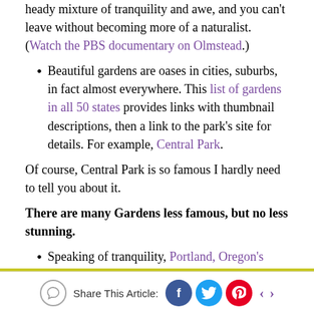heady mixture of tranquility and awe, and you can't leave without becoming more of a naturalist. (Watch the PBS documentary on Olmstead.)
Beautiful gardens are oases in cities, suburbs, in fact almost everywhere. This list of gardens in all 50 states provides links with thumbnail descriptions, then a link to the park's site for details. For example, Central Park.
Of course, Central Park is so famous I hardly need to tell you about it.
There are many Gardens less famous, but no less stunning.
Speaking of tranquility, Portland, Oregon's
Share This Article: f t p < >